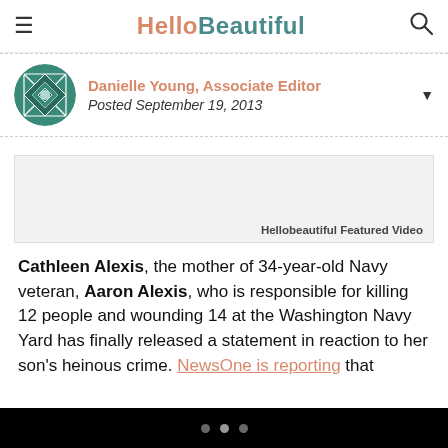HelloBeautiful
Danielle Young, Associate Editor
Posted September 19, 2013
[Figure (other): Hellobeautiful Featured Video placeholder box]
Cathleen Alexis, the mother of 34-year-old Navy veteran, Aaron Alexis, who is responsible for killing 12 people and wounding 14 at the Washington Navy Yard has finally released a statement in reaction to her son's heinous crime. NewsOne is reporting that